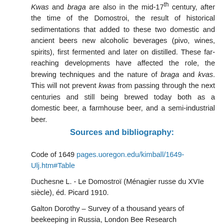Kwas and braga are also in the mid-17th century, after the time of the Domostroi, the result of historical sedimentations that added to these two domestic and ancient beers new alcoholic beverages (pivo, wines, spirits), first fermented and later on distilled. These far-reaching developments have affected the role, the brewing techniques and the nature of braga and kvas. This will not prevent kwas from passing through the next centuries and still being brewed today both as a domestic beer, a farmhouse beer, and a semi-industrial beer.
Sources and bibliography:
Code of 1649 pages.uoregon.edu/kimball/1649-Ulj.htm#Table
Duchesne L. - Le Domostroï (Ménagier russe du XVIe siècle), éd. Picard 1910.
Galton Dorothy – Survey of a thousand years of beekeeping in Russia, London Bee Research Association